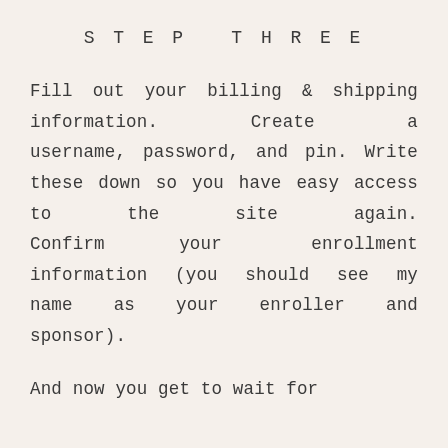STEP THREE
Fill out your billing & shipping information. Create a username, password, and pin. Write these down so you have easy access to the site again. Confirm your enrollment information (you should see my name as your enroller and sponsor).
And now you get to wait for